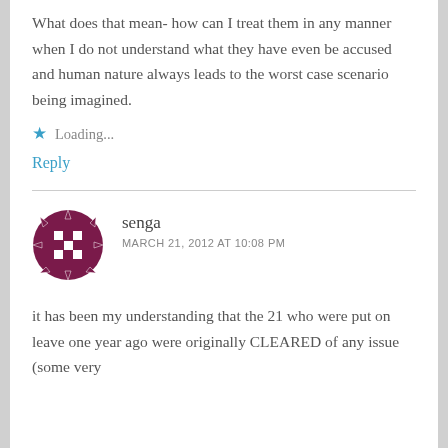What does that mean- how can I treat them in any manner when I do not understand what they have even be accused and human nature always leads to the worst case scenario being imagined.
Loading...
Reply
senga
MARCH 21, 2012 AT 10:08 PM
it has been my understanding that the 21 who were put on leave one year ago were originally CLEARED of any issue (some very